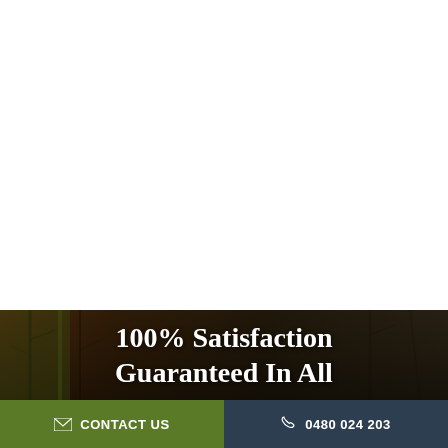[Figure (photo): Background photo of trees with dark overlay, partially visible at the bottom portion of the page]
100% Satisfaction Guaranteed In All
CONTACT US
0480 024 203